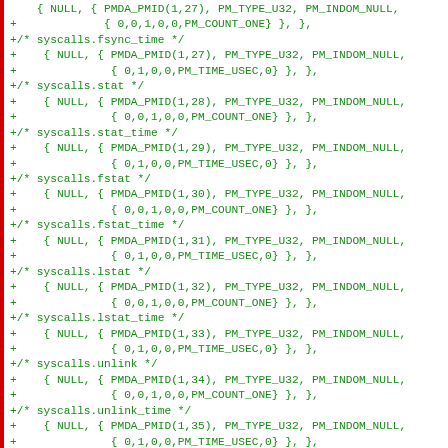Code diff showing C structure definitions for syscalls metrics including fsync_time, stat, stat_time, fstat, fstat_time, lstat, lstat_time, unlink, unlink_time, chmod, chmod_time with PMDA_PMID entries from (1,27) to (1,36)